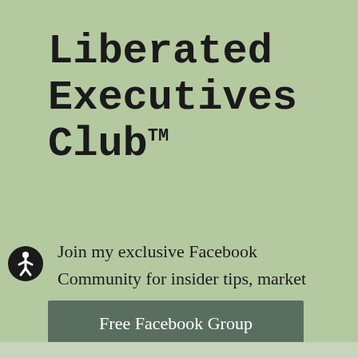Liberated Executives Club™
[Figure (illustration): Accessibility icon — black circle with white human figure (wheelchair accessibility symbol)]
Join my exclusive Facebook Community for insider tips, market trends, and weekly trainings.
Free Facebook Group